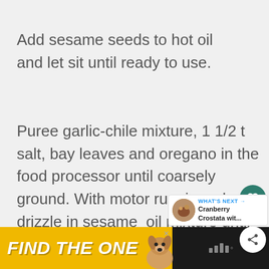Add sesame seeds to hot oil and let sit until ready to use.
Puree garlic-chile mixture, 1 1/2 t salt, bay leaves and oregano in the food processor until coarsely ground. With motor running, slowly drizzle in sesame  oil mixture until all has been added and chilies and
[Figure (screenshot): Social sharing sidebar with heart/like button showing count of 2, and a share button]
[Figure (screenshot): What's Next panel showing thumbnail image and text: Cranberry Crostata wit...]
[Figure (photo): Advertisement banner at bottom: FIND THE ONE with dog photo and app logo on dark background]